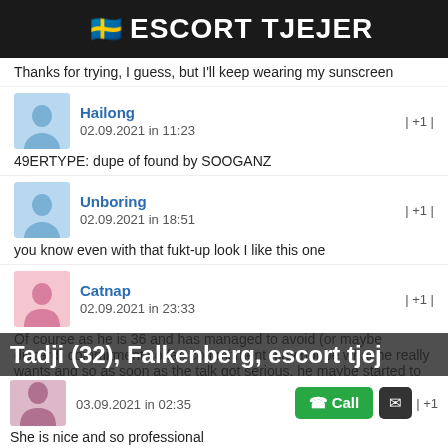🇸🇪 ESCORT TJEJER
Thanks for trying, I guess, but I'll keep wearing my sunscreen
Hailong
02.09.2021 in 11:23
| +1 |
49ERTYPE: dupe of found by SOOGANZ
Unboring
02.09.2021 in 18:51
| +1 |
you know even with that fukt-up look I like this one
Catnap
02.09.2021 in 23:33
| +1 |
Of course as he is 36 and has managed to avoid (or maybe discard) commitment so far, commitment may not be what he really wants and so as soon as the talk got serious, he maybe started to naturally withdraw anyway.
Tadji (32), Falkenberg, escort tjej
03.09.2021 in 02:35
| +1 |
She is nice and so professional